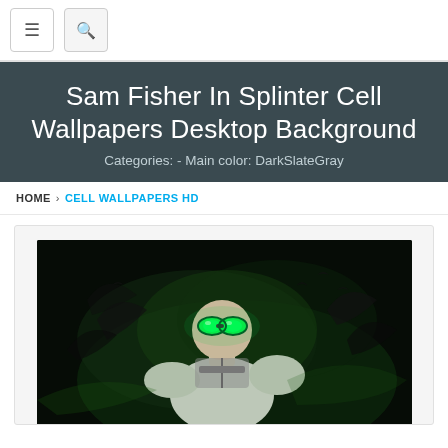Navigation bar with menu and search buttons
Sam Fisher In Splinter Cell Wallpapers Desktop Background
Categories: - Main color: DarkSlateGray
HOME › CELL WALLPAPERS HD
[Figure (photo): Sam Fisher character from Splinter Cell video game, wearing tactical gear with green glowing goggles, dark background with green smoke and crows]